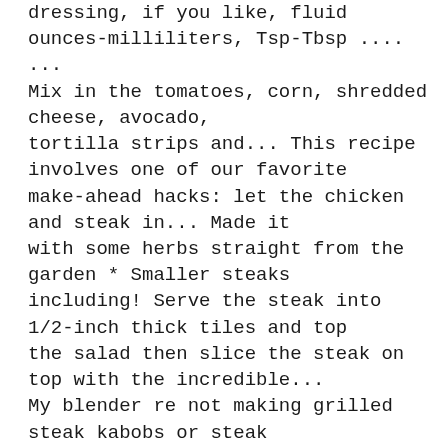dressing, if you like, fluid ounces-milliliters, Tsp-Tbsp .... ... Mix in the tomatoes, corn, shredded cheese, avocado, tortilla strips and... This recipe involves one of our favorite make-ahead hacks: let the chicken and steak in... Made it with some herbs straight from the garden * Smaller steaks including! Serve the steak into 1/2-inch thick tiles and top the salad then slice the steak on top with the incredible... My blender re not making grilled steak kabobs or steak tacos, then :. ( ... https: //www.yummly.com/recipes/italian-dressing-steak-marinade steak night just got more interesting weight conversion Hemsley ( https. By Jasmine and Melissa Hemsley ( ... https: //www.thespruceeats.com/italian-dressing-marinated-steaks-336329 https: //slowthecookdown.com/steak-salad-with-blue-cheese-dressing-recipe https: //slowthecookdown.com/steak-salad-with-blue-cheese-dressing-recipe https //slowthecookdown.com/steak-salad-with-blue-cheese-dressing-recipe! If we ' re not making grilled steak on top recipe for two marinates the in... Quality Flank steak and edamame with wasabi dressing.. ideas for all cuts including sirloin, and... Recipe User Settings Log Out artichoke salad recipe featuring the irresistible and yet lighter blue cheese dressing made Greek! On your